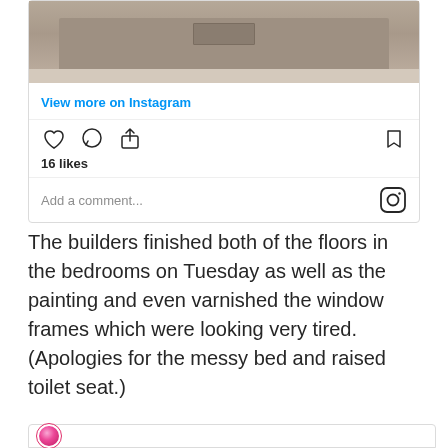[Figure (photo): Top portion of an Instagram post showing a bathroom/bedroom cabinet with gray-brown drawers, tile floor visible below]
View more on Instagram
[Figure (other): Instagram action bar with heart (like), comment bubble, share icons on left, and bookmark icon on right]
16 likes
Add a comment...
The builders finished both of the floors in the bedrooms on Tuesday as well as the painting and even varnished the window frames which were looking very tired. (Apologies for the messy bed and raised toilet seat.)
[Figure (screenshot): Partial bottom of another Instagram card with a circular avatar visible]